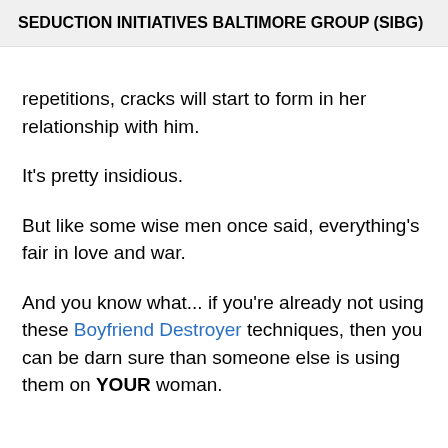SEDUCTION INITIATIVES BALTIMORE GROUP (SIBG)
repetitions, cracks will start to form in her relationship with him.
It's pretty insidious.
But like some wise men once said, everything's fair in love and war.
And you know what... if you're already not using these Boyfriend Destroyer techniques, then you can be darn sure than someone else is using them on YOUR woman.